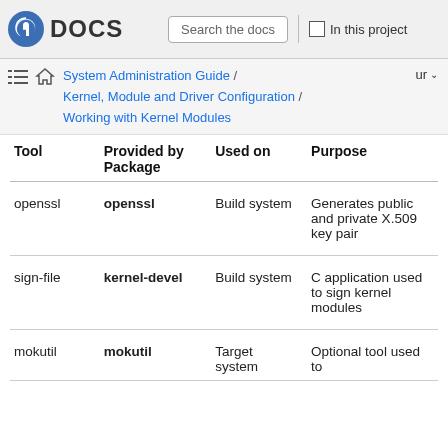Fedora DOCS | Search the docs | In this project
System Administration Guide / Kernel, Module and Driver Configuration / Working with Kernel Modules
| Tool | Provided by Package | Used on | Purpose |
| --- | --- | --- | --- |
| openssl | openssl | Build system | Generates public and private X.509 key pair |
| sign-file | kernel-devel | Build system | C application used to sign kernel modules |
| mokutil | mokutil | Target system | Optional tool used to |